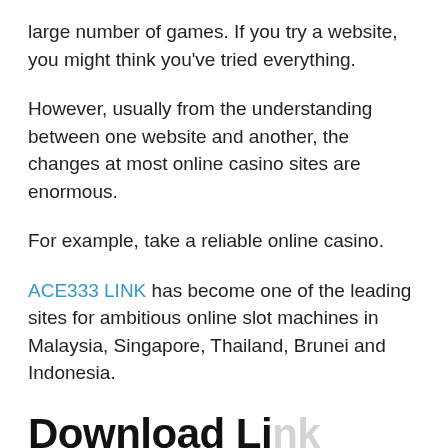large number of games. If you try a website, you might think you've tried everything.
However, usually from the understanding between one website and another, the changes at most online casino sites are enormous.
For example, take a reliable online casino.
ACE333 LINK has become one of the leading sites for ambitious online slot machines in Malaysia, Singapore, Thailand, Brunei and Indonesia.
Download Link Android Game ACE333 LINK Malaysia
[Figure (other): Green WhatsApp button with text WHATSAPP AMOI YUNI]